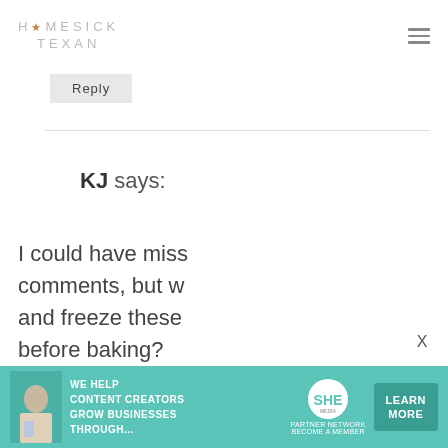HOMESICK TEXAN
Reply
KJ says:
I could have missed it in the comments, but was wondering if you can and freeze these before baking?
[Figure (photo): SHE Partner Network advertisement banner: We help content creators grow businesses through... Learn More]